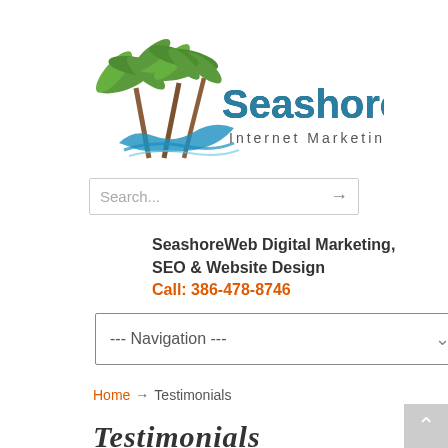[Figure (logo): SeashoreWeb Internet Marketing logo with palm trees and ocean wave graphic, teal and dark blue text]
[Figure (screenshot): Search input box with placeholder text 'Search...' and right arrow button]
SeashoreWeb Digital Marketing, SEO & Website Design
Call: 386-478-8746
[Figure (screenshot): Navigation dropdown selector showing '--- Navigation ---' with chevron]
Home → Testimonials
Testimonials